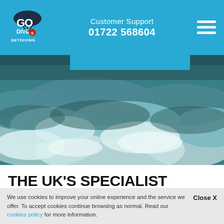Customer Support 01722 568604
[Figure (screenshot): Aerial view of clouds from above, teal-green and white cloud formations photographed from high altitude]
THE UK'S SPECIALIST TANDEM SKYDIVING CENTRE JUST 1 HOUR FROM DORSET
We use cookies to improve your online experience and the service we offer. To accept cookies continue browsing as normal. Read our cookies policy for more information.